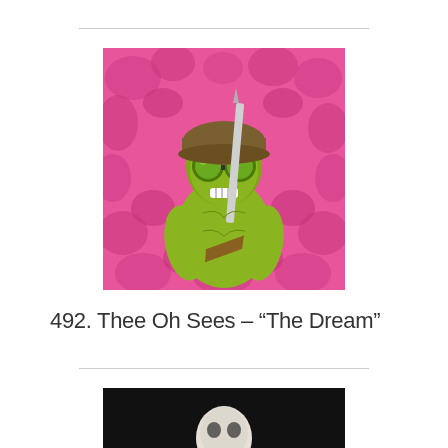[Figure (illustration): Album artwork showing a skeletal/muscle figure wearing a military helmet with large goggle-like eyes, holding a sword, set against a bright pink background filled with brain imagery. The figure is rendered in yellow-green tones with an anatomical style.]
492. Thee Oh Sees – “The Dream”
[Figure (photo): Partial view of another album artwork with a black background showing the top of a pale/white skull or face, cropped at the bottom of the page.]